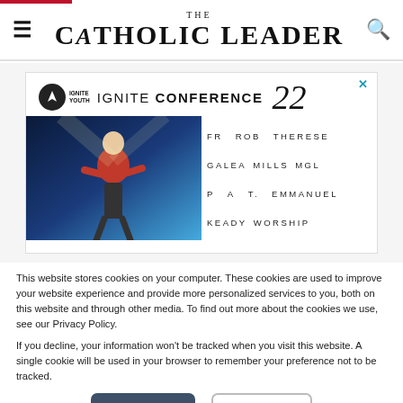THE CATHOLIC LEADER
[Figure (screenshot): Ignite Youth Conference 22 advertisement banner with performers listed: FR ROB GALEA, THERESE MILLS MGL, P.A.T. KEADY, EMMANUEL WORSHIP]
This website stores cookies on your computer. These cookies are used to improve your website experience and provide more personalized services to you, both on this website and through other media. To find out more about the cookies we use, see our Privacy Policy.
If you decline, your information won't be tracked when you visit this website. A single cookie will be used in your browser to remember your preference not to be tracked.